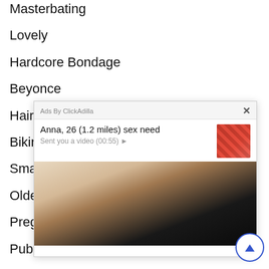Masterbating
Lovely
Hardcore Bondage
Beyonce
Hairy P...
Bikini...
Smal...
Older...
Pregn...
Publi...
[Figure (screenshot): Ad popup overlay from ClickAdilla with text 'Anna, 26 (1.2 miles) sex need' and 'Sent you a video (00:55) ▶', featuring a thumbnail image and a larger explicit image below, with a close (×) button and '2md' timestamp.]